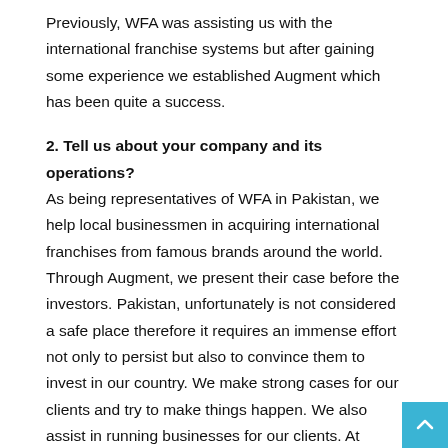Previously, WFA was assisting us with the international franchise systems but after gaining some experience we established Augment which has been quite a success.
2. Tell us about your company and its operations?
As being representatives of WFA in Pakistan, we help local businessmen in acquiring international franchises from famous brands around the world. Through Augment, we present their case before the investors. Pakistan, unfortunately is not considered a safe place therefore it requires an immense effort not only to persist but also to convince them to invest in our country. We make strong cases for our clients and try to make things happen. We also assist in running businesses for our clients. At Augment, we help the businessmen to identify and develop the best franchises to meet their business ownership goals. As a professional franchising service provider, we try to find th